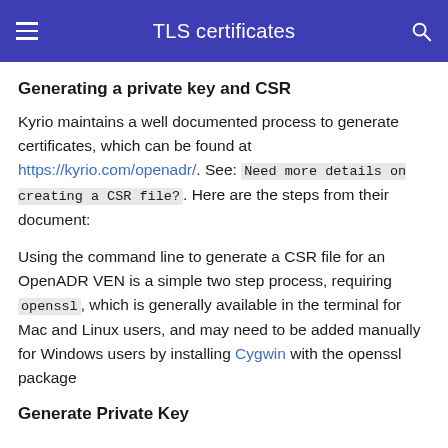TLS certificates
Generating a private key and CSR
Kyrio maintains a well documented process to generate certificates, which can be found at https://kyrio.com/openadr/. See: Need more details on creating a CSR file?. Here are the steps from their document:
Using the command line to generate a CSR file for an OpenADR VEN is a simple two step process, requiring openssl, which is generally available in the terminal for Mac and Linux users, and may need to be added manually for Windows users by installing Cygwin with the openssl package
Generate Private Key